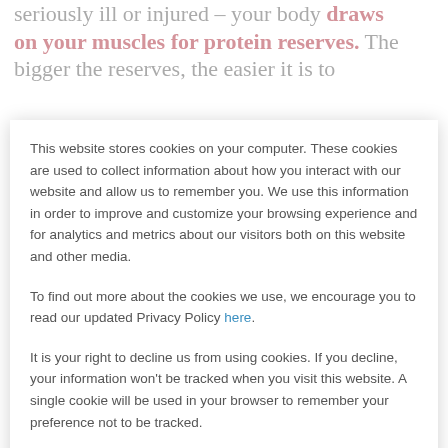seriously ill or injured – your body draws on your muscles for protein reserves. The bigger the reserves, the easier it is to
This website stores cookies on your computer. These cookies are used to collect information about how you interact with our website and allow us to remember you. We use this information in order to improve and customize your browsing experience and for analytics and metrics about our visitors both on this website and other media.
To find out more about the cookies we use, we encourage you to read our updated Privacy Policy here.
It is your right to decline us from using cookies. If you decline, your information won't be tracked when you visit this website. A single cookie will be used in your browser to remember your preference not to be tracked.
Accept
Decline